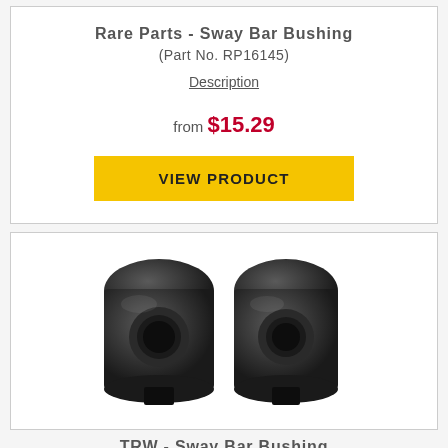Rare Parts - Sway Bar Bushing (Part No. RP16145)
Description
from $15.29
VIEW PRODUCT
[Figure (photo): Two black rubber sway bar bushings side by side, viewed from the front, showing cylindrical openings.]
TRW - Sway Bar Bushing